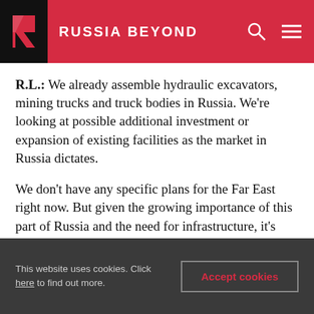RUSSIA BEYOND
R.L.: We already assemble hydraulic excavators, mining trucks and truck bodies in Russia. We're looking at possible additional investment or expansion of existing facilities as the market in Russia dictates.
We don't have any specific plans for the Far East right now. But given the growing importance of this part of Russia and the need for infrastructure, it's something we'll take a close look at going forward.
This website uses cookies. Click here to find out more. Accept cookies